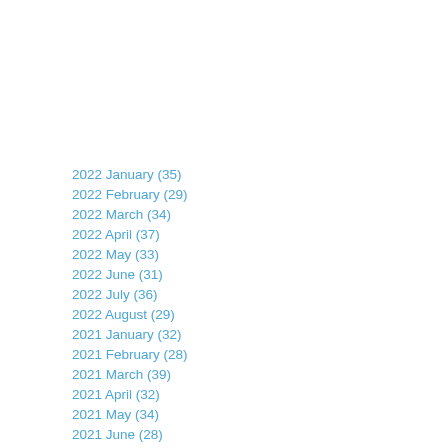2022 January (35)
2022 February (29)
2022 March (34)
2022 April (37)
2022 May (33)
2022 June (31)
2022 July (36)
2022 August (29)
2021 January (32)
2021 February (28)
2021 March (39)
2021 April (32)
2021 May (34)
2021 June (28)